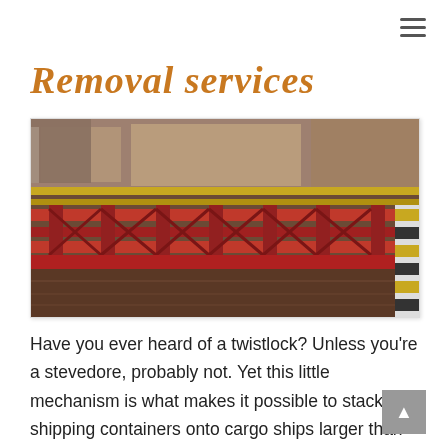≡
Removal services
[Figure (photo): Industrial cargo/shipping platform with red steel frame and wooden deck, photographed in a warehouse or port setting. The structure resembles a heavy freight transport skid or ship cargo cradle.]
Have you ever heard of a twistlock? Unless you're a stevedore, probably not. Yet this little mechanism is what makes it possible to stack shipping containers onto cargo ships larger than city blocks—enabling a global trade network that brought most of your belongings to your doorstep. And we have a relatively little-known Californian mechanical engineer to thank for it.